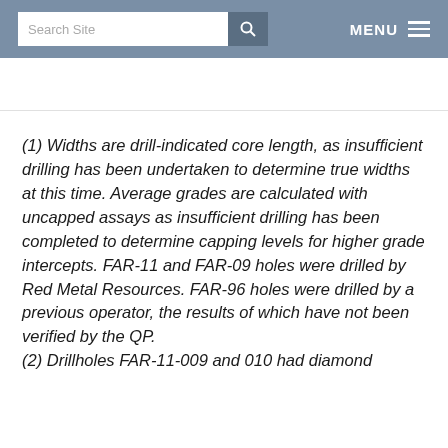Search Site | MENU
(1) Widths are drill-indicated core length, as insufficient drilling has been undertaken to determine true widths at this time. Average grades are calculated with uncapped assays as insufficient drilling has been completed to determine capping levels for higher grade intercepts. FAR-11 and FAR-09 holes were drilled by Red Metal Resources. FAR-96 holes were drilled by a previous operator, the results of which have not been verified by the QP. (2) Drillholes FAR-11-009 and 010 had diamond